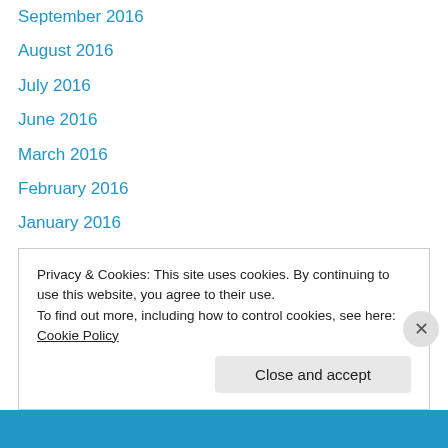September 2016
August 2016
July 2016
June 2016
March 2016
February 2016
January 2016
December 2015
November 2015
April 2015
March 2015
February 2015
December 2014
November 2014
Privacy & Cookies: This site uses cookies. By continuing to use this website, you agree to their use.
To find out more, including how to control cookies, see here: Cookie Policy
Close and accept